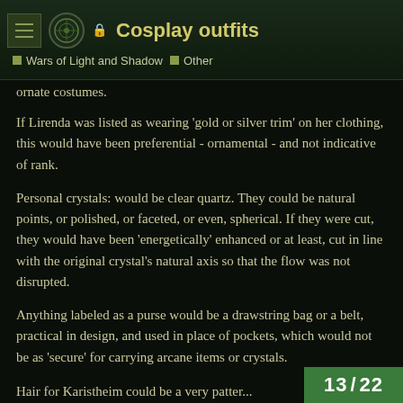🔒 Cosplay outfits | Wars of Light and Shadow | Other
ornate costumes.
If Lirenda was listed as wearing 'gold or silver trim' on her clothing, this would have been preferential - ornamental - and not indicative of rank.
Personal crystals: would be clear quartz. They could be natural points, or polished, or faceted, or even, spherical. If they were cut, they would have been 'energetically' enhanced or at least, cut in line with the original crystal's natural axis so that the flow was not disrupted.
Anything labeled as a purse would be a drawstring bag or a belt, practical in design, and used in place of pockets, which would not be as 'secure' for carrying arcane items or crystals.
Hair for Karistheim could be a very patter...
13 / 22